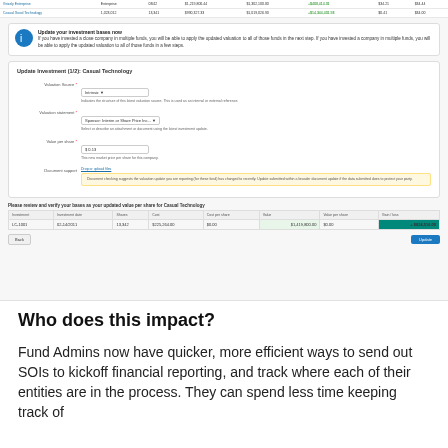[Figure (screenshot): Screenshot of a financial software interface showing a table with investment rows at the top, a notification banner about updating investment bases, a form for updating an investment (Casual Technology) with fields for Valuation Source, Valuation statement, Value per share, and Document support, a review notice, and an investments summary table with columns for Investment, Investment date, Shares, Cost, Cost per share, Value, Value per share, Gain/loss, showing one row for LC-1001 dated 02-14-2011 with 13,342 shares, $225,264.00 cost, $0.00 cost per share, $1,419,800.00 value, $0.00 value per share, and +$824,516.00 gain, with Back and Update buttons at the bottom.]
Who does this impact?
Fund Admins now have quicker, more efficient ways to send out SOIs to kickoff financial reporting, and track where each of their entities are in the process. They can spend less time keeping track of